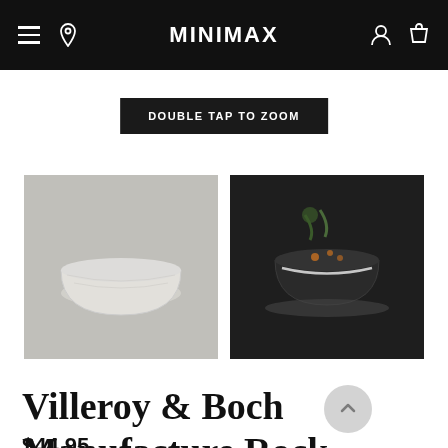MINIMAX
DOUBLE TAP TO ZOOM
[Figure (photo): Two product thumbnail images: left shows a white/grey ceramic bowl on grey background; right shows dark bowl with food in a lifestyle dark setting]
Villeroy & Boch Manufacture Rock Bowl Blanc
$44.95